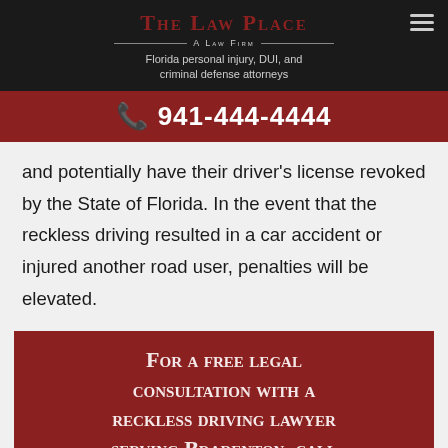THE LAW PLACE — A LAW FIRM — Florida personal injury, DUI, and criminal defense attorneys
📞 941-444-4444
and potentially have their driver's license revoked by the State of Florida. In the event that the reckless driving resulted in a car accident or injured another road user, penalties will be elevated.
For a free legal consultation with a reckless driving lawyer serving Bradenton, call